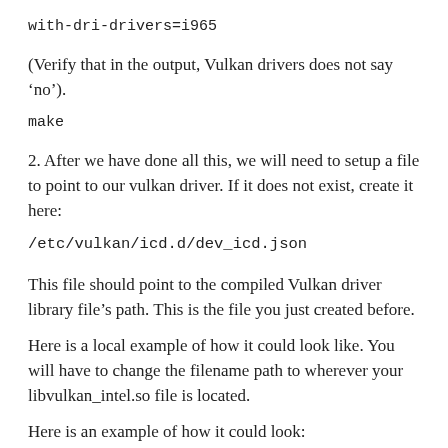with-dri-drivers=i965
(Verify that in the output, Vulkan drivers does not say ‘no’).
make
2. After we have done all this, we will need to setup a file to point to our vulkan driver. If it does not exist, create it here:
/etc/vulkan/icd.d/dev_icd.json
This file should point to the compiled Vulkan driver library file’s path. This is the file you just created before.
Here is a local example of how it could look like. You will have to change the filename path to wherever your libvulkan_intel.so file is located.
Here is an example of how it could look: